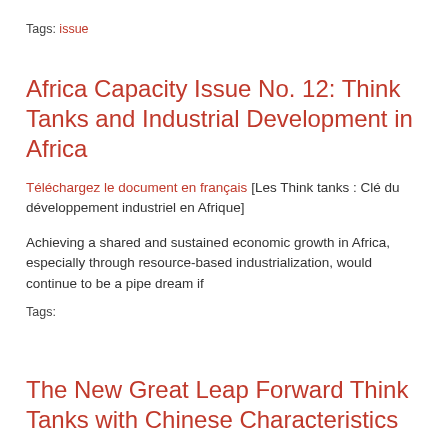Tags: issue
Africa Capacity Issue No. 12: Think Tanks and Industrial Development in Africa
Téléchargez le document en français [Les Think tanks : Clé du développement industriel en Afrique]
Achieving a shared and sustained economic growth in Africa, especially through resource-based industrialization, would continue to be a pipe dream if
Tags:
The New Great Leap Forward Think Tanks with Chinese Characteristics
In the last few years, China has experienced a think-tank boom